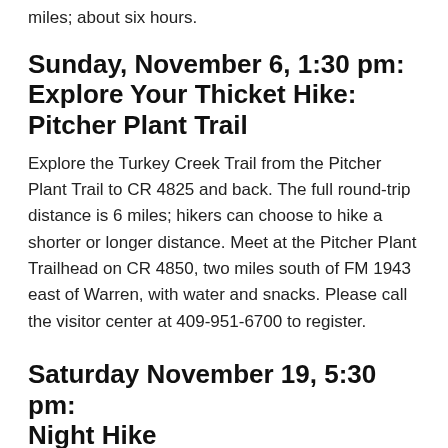miles; about six hours.
Sunday, November 6, 1:30 pm: Explore Your Thicket Hike: Pitcher Plant Trail
Explore the Turkey Creek Trail from the Pitcher Plant Trail to CR 4825 and back. The full round-trip distance is 6 miles; hikers can choose to hike a shorter or longer distance. Meet at the Pitcher Plant Trailhead on CR 4850, two miles south of FM 1943 east of Warren, with water and snacks. Please call the visitor center at 409-951-6700 to register.
Saturday November 19, 5:30 pm: Night Hike